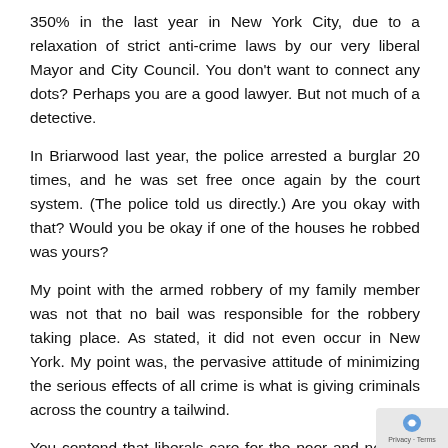350% in the last year in New York City, due to a relaxation of strict anti-crime laws by our very liberal Mayor and City Council. You don't want to connect any dots? Perhaps you are a good lawyer. But not much of a detective.
In Briarwood last year, the police arrested a burglar 20 times, and he was set free once again by the court system. (The police told us directly.) Are you okay with that? Would you be okay if one of the houses he robbed was yours?
My point with the armed robbery of my family member was not that no bail was responsible for the robbery taking place. As stated, it did not even occur in New York. My point was, the pervasive attitude of minimizing the serious effects of all crime is what is giving criminals across the country a tailwind.
You contend that liberals care for the poor and needy. I contend the opposite. The liberals have created the poor and needy. The Great Society launched by Lyndon Johnson created the welfare state and proved to be a disaster for the Black American nuclear